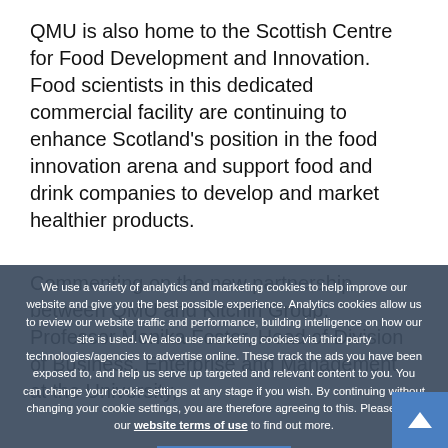QMU is also home to the Scottish Centre for Food Development and Innovation. Food scientists in this dedicated commercial facility are continuing to enhance Scotland's position in the food innovation arena and support food and drink companies to develop and market healthier products.
Commenting on the new partnership between QMU and Kitchin Group, Professor Monika Foster, Head of Division of Business, Enterprise and Management at the University,
We use a variety of analytics and marketing cookies to help improve our website and give you the best possible experience. Analytics cookies allow us to review our website traffic and performance, building intelligence on how our site is used. We also use marketing cookies via third party technologies/agencies to advertise online. These track the ads you have been exposed to, and help us serve up targeted and relevant content to you. You can change your cookie settings at any stage if you wish. By continuing without changing your cookie settings, you are therefore agreeing to this. Please read our website terms of use to find out more.
I Accept